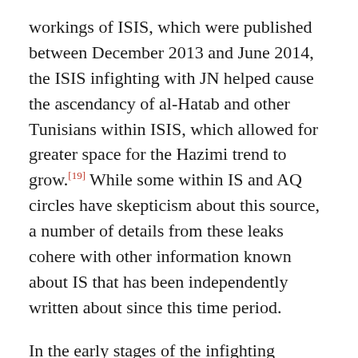workings of ISIS, which were published between December 2013 and June 2014, the ISIS infighting with JN helped cause the ascendancy of al-Hatab and other Tunisians within ISIS, which allowed for greater space for the Hazimi trend to grow.[19] While some within IS and AQ circles have skepticism about this source, a number of details from these leaks cohere with other information known about IS that has been independently written about since this time period.
In the early stages of the infighting between JN and ISIS, JN arrested two Tunisians, Abu Taj al-Sussi and Abu 'Umar al-'Abadi, among others who were not Tunisian, due to their takfiri ways and loyalty to Abu Bakr al-Baghdadi.[20] In line with this, due to the loyalty of Tunisian foreign